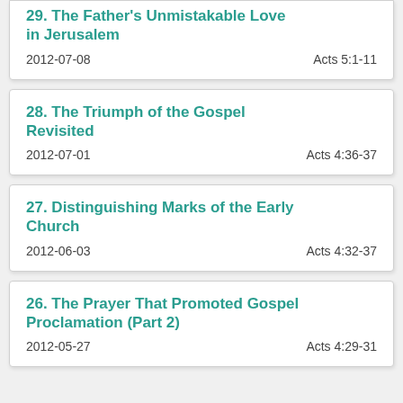29. The Father's Unmistakable Love in Jerusalem
2012-07-08
Acts 5:1-11
28. The Triumph of the Gospel Revisited
2012-07-01
Acts 4:36-37
27. Distinguishing Marks of the Early Church
2012-06-03
Acts 4:32-37
26. The Prayer That Promoted Gospel Proclamation (Part 2)
2012-05-27
Acts 4:29-31